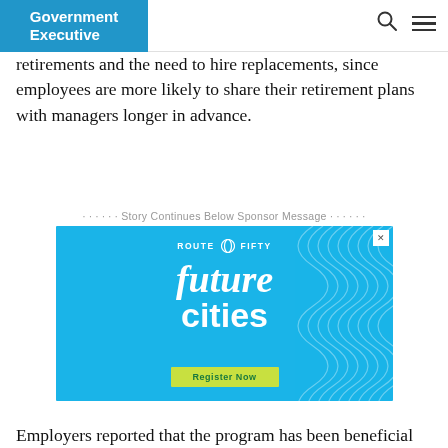Government Executive
retirements and the need to hire replacements, since employees are more likely to share their retirement plans with managers longer in advance.
· · · · · · Story Continues Below Sponsor Message · · · · · ·
[Figure (advertisement): Route Fifty 'future cities' advertisement with bright blue background, wavy line design, and a yellow-green 'Register Now' button]
Employers reported that the program has been beneficial